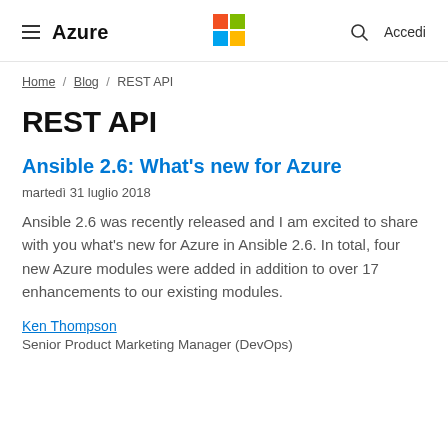≡ Azure | Microsoft | 🔍 Accedi
Home / Blog / REST API
REST API
Ansible 2.6: What's new for Azure
martedì 31 luglio 2018
Ansible 2.6 was recently released and I am excited to share with you what's new for Azure in Ansible 2.6. In total, four new Azure modules were added in addition to over 17 enhancements to our existing modules.
Ken Thompson
Senior Product Marketing Manager (DevOps)